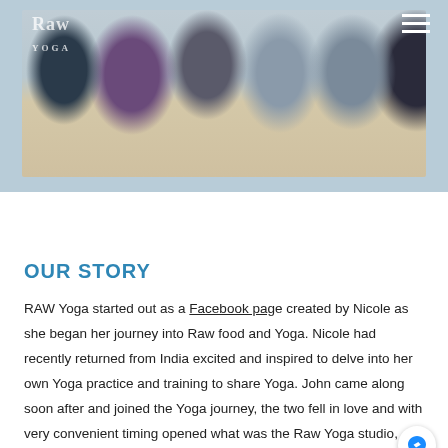[Figure (photo): Group photo of approximately 6-7 people sitting on a wooden floor in what appears to be a yoga studio, with a Raw Yoga logo visible in the top left of the image. A hamburger menu icon is in the top right corner.]
OUR STORY
RAW Yoga started out as a Facebook page created by Nicole as she began her journey into Raw food and Yoga. Nicole had recently returned from India excited and inspired to delve into her own Yoga practice and training to share Yoga. John came along soon after and joined the Yoga journey, the two fell in love and with very convenient timing opened what was Raw Yoga studio, John was the first Raw Yoga (Nicole) trained instructor